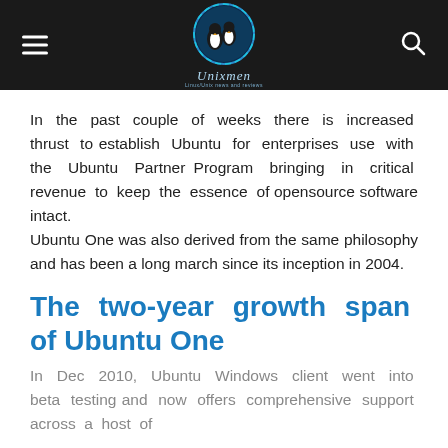[Figure (logo): Unixmen website header with logo showing two penguins, hamburger menu icon on left, search icon on right, dark background]
In the past couple of weeks there is increased thrust to establish Ubuntu for enterprises use with the Ubuntu Partner Program bringing in critical revenue to keep the essence of opensource software intact.
Ubuntu One was also derived from the same philosophy and has been a long march since its inception in 2004.
The two-year growth span of Ubuntu One
In Dec 2010, Ubuntu Windows client went into beta testing and now offers comprehensive support across a host of